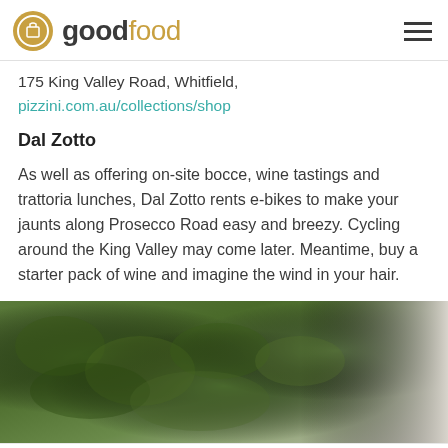good food
175 King Valley Road, Whitfield,
pizzini.com.au/collections/shop
Dal Zotto
As well as offering on-site bocce, wine tastings and trattoria lunches, Dal Zotto rents e-bikes to make your jaunts along Prosecco Road easy and breezy. Cycling around the King Valley may come later. Meantime, buy a starter pack of wine and imagine the wind in your hair.
[Figure (photo): Blurred green foliage with a light-coloured surface on the right side]
Social share icons: Facebook, Pinterest, Twitter, LinkedIn, Email